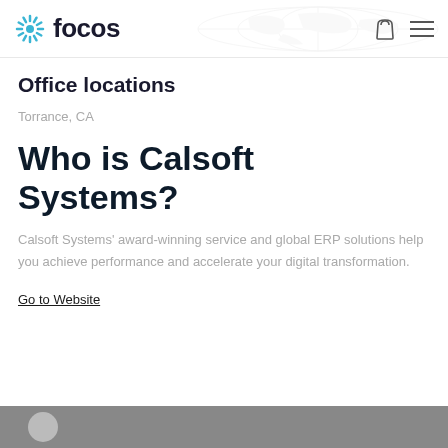focos
Office locations
Torrance, CA
Who is Calsoft Systems?
Calsoft Systems' award-winning service and global ERP solutions help you achieve performance and accelerate your digital transformation.
Go to Website
[Figure (photo): Bottom gray bar with partial avatar/profile photo visible]